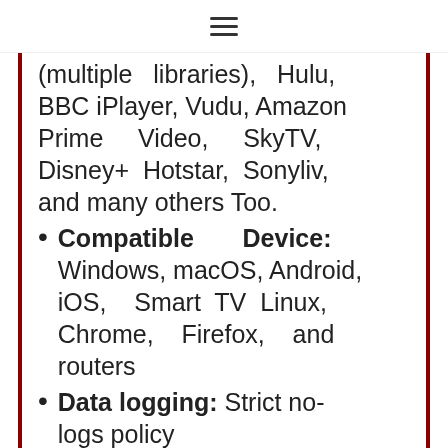≡
(multiple libraries), Hulu, BBC iPlayer, Vudu, Amazon Prime Video, SkyTV, Disney+ Hotstar, Sonyliv, and many others Too.
Compatible Device: Windows, macOS, Android, iOS, Smart TV Linux, Chrome, Firefox, and routers
Data logging: Strict no-logs policy
Money-back guarantee: 30 days